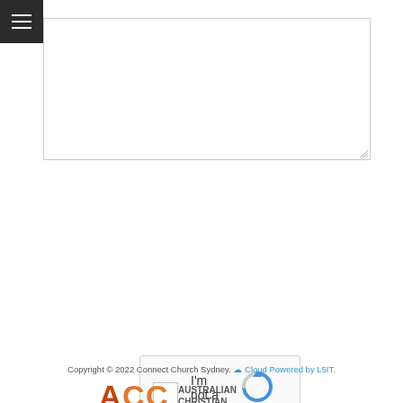[Figure (screenshot): Hamburger menu button in top-left corner, dark background with three white horizontal lines]
[Figure (screenshot): Empty textarea input box with resize handle in bottom-right corner]
[Figure (screenshot): reCAPTCHA widget with checkbox, 'I'm not a robot' label, and reCAPTCHA logo with Privacy and Terms links]
[Figure (screenshot): Yellow submit button with text 'SUBMIT YOUR QUESTION']
Copyright © 2022 Connect Church Sydney. ☁ Cloud Powered by L5IT.
[Figure (logo): Australian Christian Churches (ACC) logo - partial view showing orange/red letters and 'AUSTRALIAN CHRISTIAN' text]